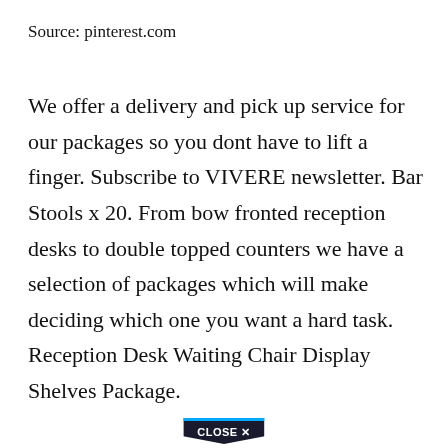Source: pinterest.com
We offer a delivery and pick up service for our packages so you dont have to lift a finger. Subscribe to VIVERE newsletter. Bar Stools x 20. From bow fronted reception desks to double topped counters we have a selection of packages which will make deciding which one you want a hard task. Reception Desk Waiting Chair Display Shelves Package.
[Figure (other): CLOSE X button — a dark pentagon/chevron shaped close button with blue top border and white bold text reading 'CLOSE X']